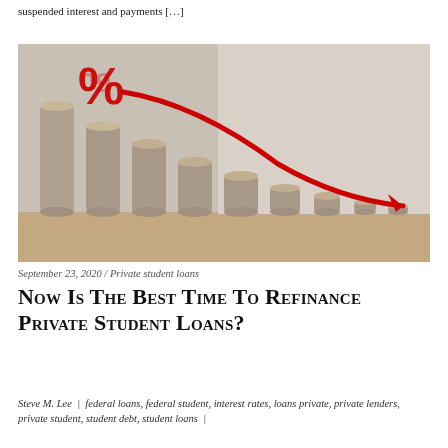suspended interest and payments […]
[Figure (photo): Stacks of coins in descending height left to right with a red downward-trending arrow and a red percent sign, illustrating falling interest rates.]
September 23, 2020 / Private student loans
Now Is The Best Time To Refinance Private Student Loans?
Steve M. Lee | federal loans, federal student, interest rates, loans private, private lenders, private student, student debt, student loans |